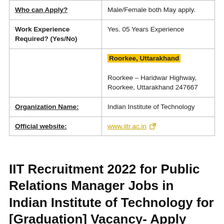| Who can Apply? | Male/Female both May apply. |
| Work Experience Required? (Yes/No) | Yes. 05 Years Experience |
|  | Roorkee, Uttarakhand
Roorkee – Haridwar Highway, Roorkee, Uttarakhand 247667 |
| Organization Name: | Indian Institute of Technology |
| Official website: | www.iitr.ac.in |
IIT Recruitment 2022 for Public Relations Manager Jobs in Indian Institute of Technology for [Graduation] Vacancy- Apply @www.iitr.ac.in